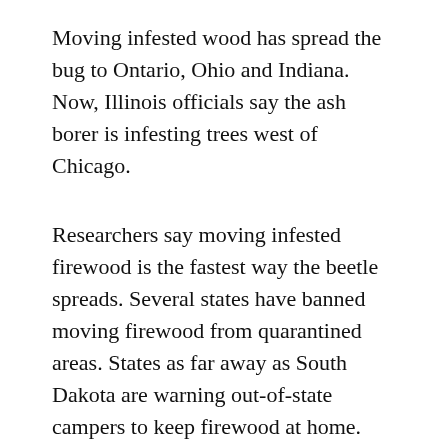Moving infested wood has spread the bug to Ontario, Ohio and Indiana. Now, Illinois officials say the ash borer is infesting trees west of Chicago.
Researchers say moving infested firewood is the fastest way the beetle spreads. Several states have banned moving firewood from quarantined areas. States as far away as South Dakota are warning out-of-state campers to keep firewood at home.
Critics argue states are too lenient in enforcing